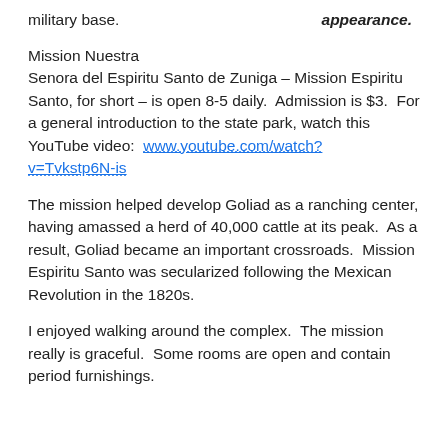military base.
appearance.
Mission Nuestra Senora del Espiritu Santo de Zuniga – Mission Espiritu Santo, for short – is open 8-5 daily.  Admission is $3.  For a general introduction to the state park, watch this YouTube video:  www.youtube.com/watch?v=Tvkstp6N-is
The mission helped develop Goliad as a ranching center, having amassed a herd of 40,000 cattle at its peak.  As a result, Goliad became an important crossroads.  Mission Espiritu Santo was secularized following the Mexican Revolution in the 1820s.
I enjoyed walking around the complex.  The mission really is graceful.  Some rooms are open and contain period furnishings.